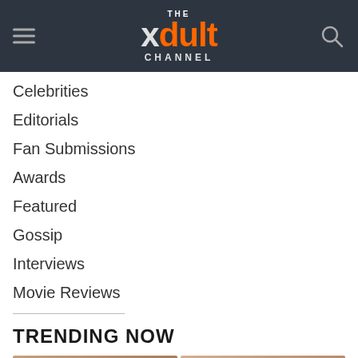THE xdult CHANNEL
Celebrities
Editorials
Fan Submissions
Awards
Featured
Gossip
Interviews
Movie Reviews
TRENDING NOW
[Figure (photo): Two partially visible photos below the Trending Now section heading]